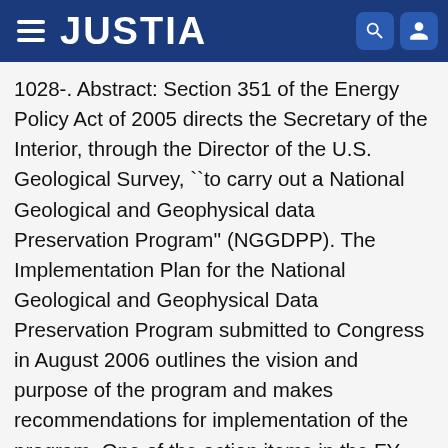JUSTIA
1028-. Abstract: Section 351 of the Energy Policy Act of 2005 directs the Secretary of the Interior, through the Director of the U.S. Geological Survey, ``to carry out a National Geological and Geophysical data Preservation Program'' (NGGDPP). The Implementation Plan for the National Geological and Geophysical Data Preservation Program submitted to Congress in August 2006 outlines the vision and purpose of the program and makes recommendations for implementation of the program. One of the action items in the FY 2007 implementation plan is to ``begin interactions with State geological surveys and other DOI agencies that maintain geological and geophysical data and samples to address their preservation and data rescue needs.'' As the first step in this process, the USGS is requesting that each state provide an assessment of their current collections resources and data preservation needs. This